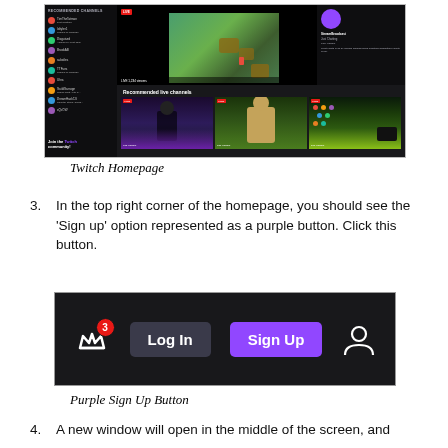[Figure (screenshot): Twitch homepage screenshot showing sidebar with recommended channels, a game stream playing (map-style game), and a 'Recommended live channels' section at the bottom with three channel previews and a 'Join the Twitch community!' message.]
Twitch Homepage
3. In the top right corner of the homepage, you should see the 'Sign up' option represented as a purple button. Click this button.
[Figure (screenshot): Twitch navigation bar screenshot showing a crown icon with a red badge displaying '3', a dark 'Log In' button, a purple 'Sign Up' button, and a person/profile icon.]
Purple Sign Up Button
4. A new window will open in the middle of the screen, and